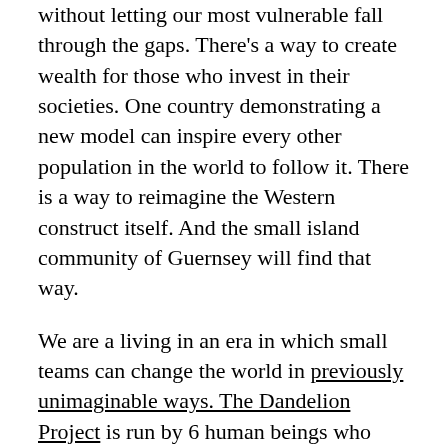without letting our most vulnerable fall through the gaps. There's a way to create wealth for those who invest in their societies. One country demonstrating a new model can inspire every other population in the world to follow it. There is a way to reimagine the Western construct itself. And the small island community of Guernsey will find that way.
We are a living in an era in which small teams can change the world in previously unimaginable ways. The Dandelion Project is run by 6 human beings who have all pledged to dedicate the next 6 years of their life to changing the world. These 6 people now need your help.
So far, the 6 of us have invested a significant amount of our own money, all our spare time and an awful lot of coffee to start a movement that has already...